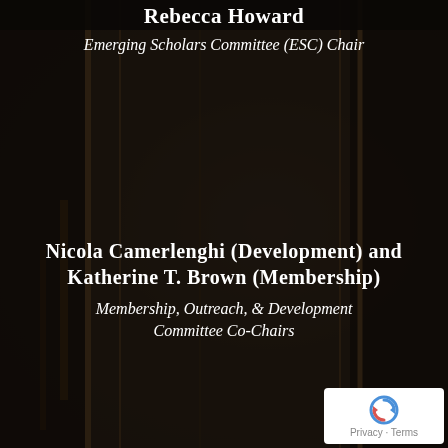Rebecca Howard
Emerging Scholars Committee (ESC) Chair
Nicola Camerlenghi (Development) and Katherine T. Brown (Membership)
Membership, Outreach, & Development Committee Co-Chairs
Janis Elliott
Program Committee Chair
Sarah Cantor
Nominating Committee Chair